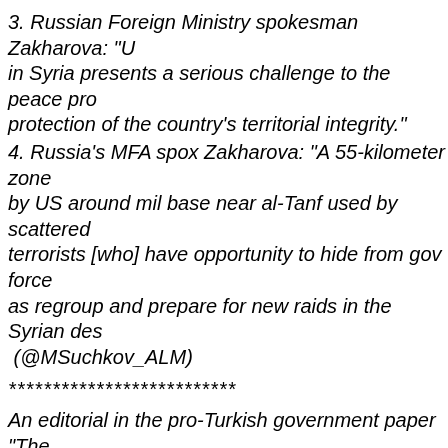3. Russian Foreign Ministry spokesman Zakharova: "U in Syria presents a serious challenge to the peace pro protection of the country's territorial integrity."
4. Russia's MFA spox Zakharova: "A 55-kilometer zone by US around mil base near al-Tanf used by scattered terrorists [who] have opportunity to hide from gov force as regroup and prepare for new raids in the Syrian des (@MSuchkov_ALM)
**************************
An editorial in the pro-Turkish government paper “The blame squarely on the shoulders of an out of control P CENTCOM generals. In so many words, they call on T and correct the situation. The full editorial is well worth
**************************
“During his 2016 election campaign, U.S. President Do asking: "Why are we in Syria and Afghanistan?" He ca entanglements abroad and a focus on domestic proble Obama’s Syria policy was based on little more than ind